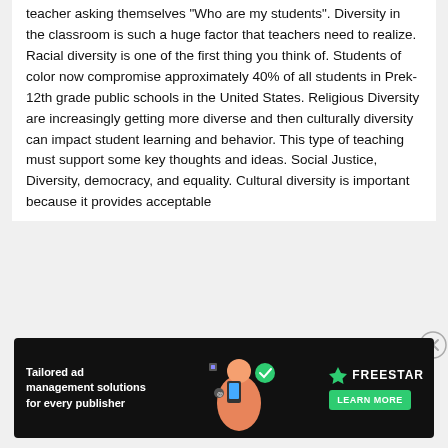teacher asking themselves "Who are my students". Diversity in the classroom is such a huge factor that teachers need to realize. Racial diversity is one of the first thing you think of. Students of color now compromise approximately 40% of all students in Prek-12th grade public schools in the United States. Religious Diversity are increasingly getting more diverse and then culturally diversity can impact student learning and behavior. This type of teaching must support some key thoughts and ideas. Social Justice, Diversity, democracy, and equality. Cultural diversity is important because it provides acceptable
[Figure (infographic): Freestar advertisement banner: dark background with illustration of person holding phone with tech icons. Text reads 'Tailored ad management solutions for every publisher'. Green 'LEARN MORE' button. Freestar logo with triangle icon.]